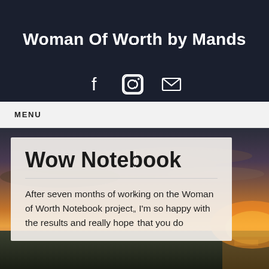Woman Of Worth by Mands
[Figure (infographic): Social media icons: Facebook (f), Instagram (camera icon), Email (envelope icon)]
MENU
[Figure (photo): Sunset landscape photo with dramatic cloudy sky in orange and purple tones, ocean visible on right side]
Wow Notebook
After seven months of working on the Woman of Worth Notebook project, I'm so happy with the results and really hope that you do